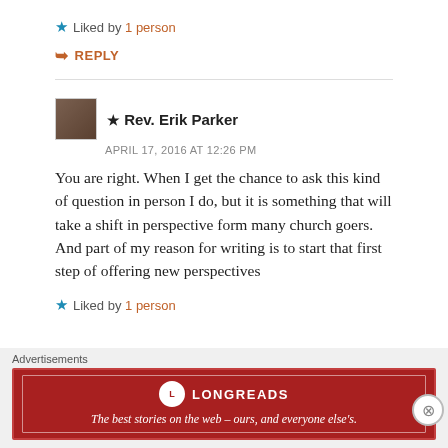Liked by 1 person
REPLY
★ Rev. Erik Parker
APRIL 17, 2016 AT 12:26 PM
You are right. When I get the chance to ask this kind of question in person I do, but it is something that will take a shift in perspective form many church goers. And part of my reason for writing is to start that first step of offering new perspectives
Liked by 1 person
[Figure (infographic): Longreads advertisement banner: red background with Longreads logo and tagline 'The best stories on the web — ours, and everyone else's.']